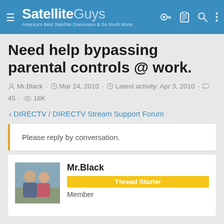SatelliteGuys — America's Best Satellite Discussion & So Much More!
Need help bypassing parental controls @ work.
Mr.Black · Mar 24, 2010 · Latest activity: Apr 3, 2010 · 45 · 18K
< DIRECTV / DIRECTV Stream Support Forum
Please reply by conversation.
Mr.Black
Thread Starter
Member